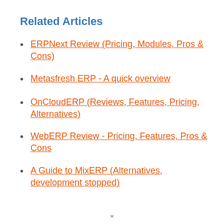Related Articles
ERPNext Review (Pricing, Modules, Pros & Cons)
Metasfresh ERP - A quick overview
OnCloudERP (Reviews, Features, Pricing, Alternatives)
WebERP Review - Pricing, Features, Pros & Cons
A Guide to MixERP (Alternatives, development stopped)
×